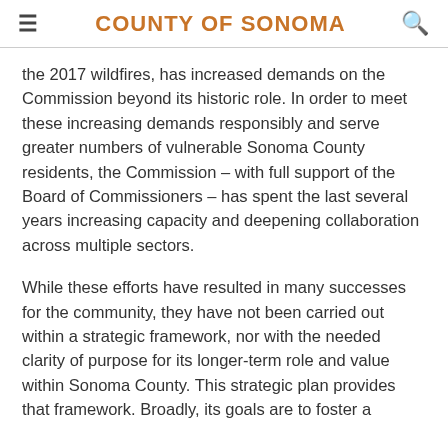COUNTY OF SONOMA
the 2017 wildfires, has increased demands on the Commission beyond its historic role. In order to meet these increasing demands responsibly and serve greater numbers of vulnerable Sonoma County residents, the Commission – with full support of the Board of Commissioners – has spent the last several years increasing capacity and deepening collaboration across multiple sectors.
While these efforts have resulted in many successes for the community, they have not been carried out within a strategic framework, nor with the needed clarity of purpose for its longer-term role and value within Sonoma County. This strategic plan provides that framework. Broadly, its goals are to foster a